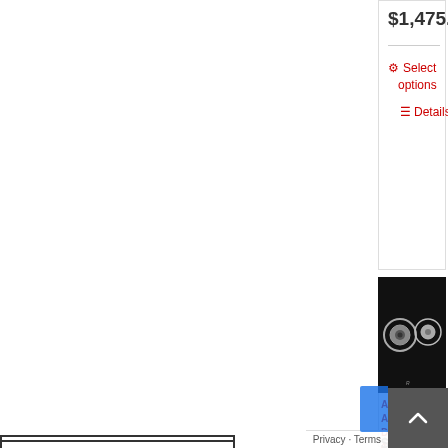$1,475.00
Select options
Details
[Figure (photo): Two silver billet torque converter discs on a dark background with R logo watermark]
Aisin Seiki AS69RC Dodge 3500 4500 5500 6 Disc Stage 5 Billet Torque Converter
$2,100.00
Upgrade & Accessories